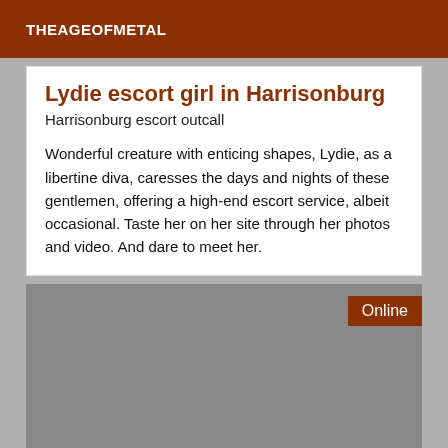THEAGEOFMETAL
Lydie escort girl in Harrisonburg
Harrisonburg escort outcall
Wonderful creature with enticing shapes, Lydie, as a libertine diva, caresses the days and nights of these gentlemen, offering a high-end escort service, albeit occasional. Taste her on her site through her photos and video. And dare to meet her.
[Figure (photo): Gray placeholder image with an orange 'Online' badge in the top-right corner]